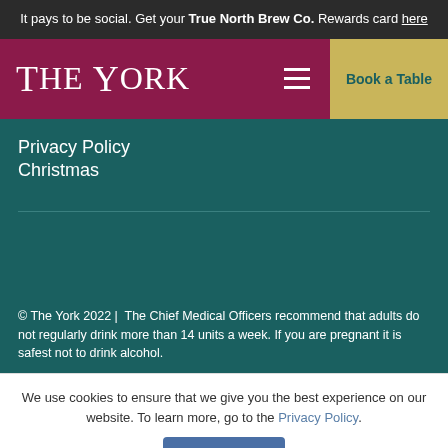It pays to be social. Get your True North Brew Co. Rewards card here
THE YORK
Book a Table
Privacy Policy
Christmas
© The York 2022 |  The Chief Medical Officers recommend that adults do not regularly drink more than 14 units a week. If you are pregnant it is safest not to drink alcohol.
We use cookies to ensure that we give you the best experience on our website. To learn more, go to the Privacy Policy.